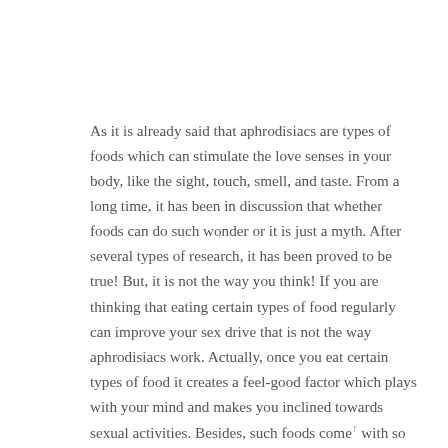As it is already said that aphrodisiacs are types of foods which can stimulate the love senses in your body, like the sight, touch, smell, and taste. From a long time, it has been in discussion that whether foods can do such wonder or it is just a myth. After several types of research, it has been proved to be true! But, it is not the way you think! If you are thinking that eating certain types of food regularly can improve your sex drive that is not the way aphrodisiacs work. Actually, once you eat certain types of food it creates a feel-good factor which plays with your mind and makes you inclined towards sexual activities. Besides, such foods come with so many health benefits that those can, in turn, make you sexually active. For example, avocado has certain components in it which can improve your blood circulation throughout your body and sex organs. Thus, your body becomes active and stays away from fatigue. As a result, one